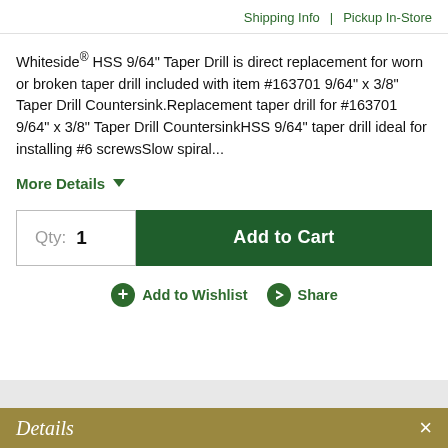Shipping Info | Pickup In-Store
Whiteside® HSS 9/64" Taper Drill is direct replacement for worn or broken taper drill included with item #163701 9/64" x 3/8" Taper Drill Countersink.Replacement taper drill for #163701 9/64" x 3/8" Taper Drill CountersinkHSS 9/64" taper drill ideal for installing #6 screwsSlow spiral...
More Details ▾
Qty: 1
Add to Cart
Add to Wishlist  Share
Details